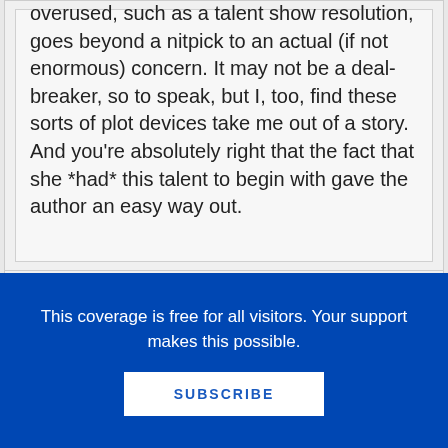overused, such as a talent show resolution, goes beyond a nitpick to an actual (if not enormous) concern. It may not be a deal-breaker, so to speak, but I, too, find these sorts of plot devices take me out of a story. And you're absolutely right that the fact that she *had* this talent to begin with gave the author an easy way out.
Tamara DePasquale says
This coverage is free for all visitors. Your support makes this possible.
SUBSCRIBE